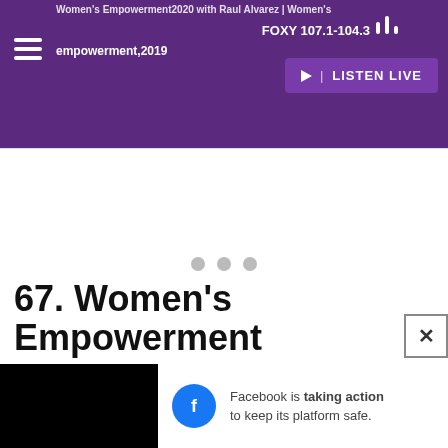Women's Empowerment 2020 with Raul Alvarez | Women's Empowerment,2019 | FOXY 107.1-104.3
[Figure (screenshot): Loading spinner with three gray dots on white background]
67. Women's Empowerment
[Figure (screenshot): Facebook ad banner: 'Facebook is taking action to keep its platform safe.']